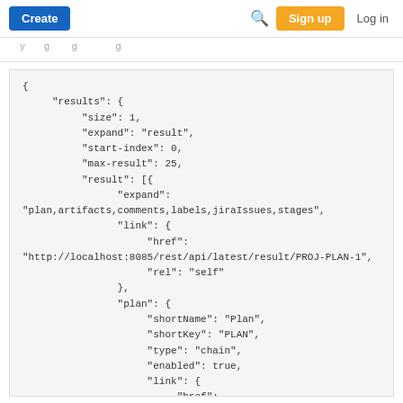Create  [search]  Sign up  Log in
navigation strip (partial text visible)
{
    "results": {
        "size": 1,
        "expand": "result",
        "start-index": 0,
        "max-result": 25,
        "result": [{
                "expand":
"plan,artifacts,comments,labels,jiraIssues,stages",
                "link": {
                    "href":
"http://localhost:8085/rest/api/latest/result/PROJ-PLAN-1",
                    "rel": "self"
                },
                "plan": {
                    "shortName": "Plan",
                    "shortKey": "PLAN",
                    "type": "chain",
                    "enabled": true,
                    "link": {
                        "href":